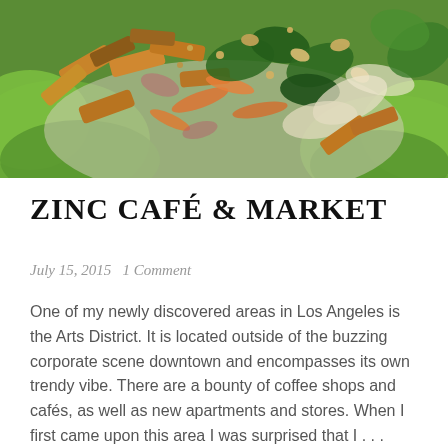[Figure (photo): Close-up photo of a salad dish with tofu strips, leafy greens, shredded carrots, nuts, and mixed vegetables on a white plate with lettuce leaves]
ZINC CAFÉ & MARKET
July 15, 2015   1 Comment
One of my newly discovered areas in Los Angeles is the Arts District. It is located outside of the buzzing corporate scene downtown and encompasses its own trendy vibe. There are a bounty of coffee shops and cafés, as well as new apartments and stores. When I first came upon this area I was surprised that I . . . Continue reading